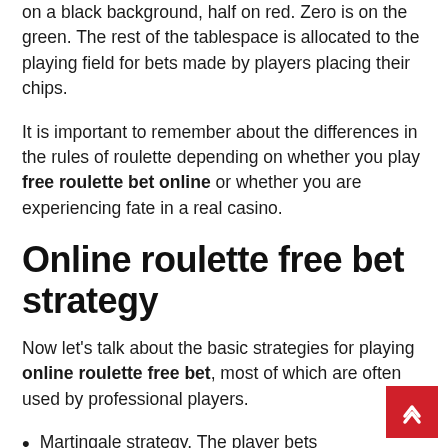on a black background, half on red. Zero is on the green. The rest of the tablespace is allocated to the playing field for bets made by players placing their chips.
It is important to remember about the differences in the rules of roulette depending on whether you play free roulette bet online or whether you are experiencing fate in a real casino.
Online roulette free bet strategy
Now let's talk about the basic strategies for playing online roulette free bet, most of which are often used by professional players.
Martingale strategy. The player bets